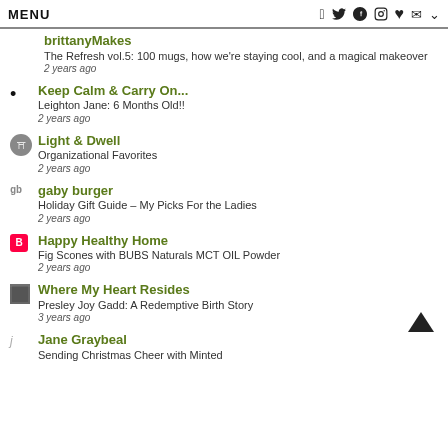MENU
brittanyMakes | The Refresh vol.5: 100 mugs, how we're staying cool, and a magical makeover | 2 years ago
Keep Calm & Carry On... | Leighton Jane: 6 Months Old!! | 2 years ago
Light & Dwell | Organizational Favorites | 2 years ago
gaby burger | Holiday Gift Guide – My Picks For the Ladies | 2 years ago
Happy Healthy Home | Fig Scones with BUBS Naturals MCT OIL Powder | 2 years ago
Where My Heart Resides | Presley Joy Gadd: A Redemptive Birth Story | 3 years ago
Jane Graybeal | Sending Christmas Cheer with Minted